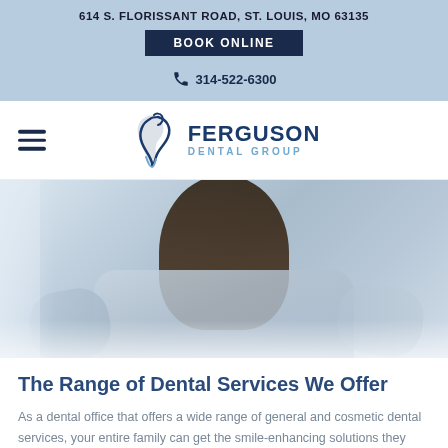614 S. FLORISSANT ROAD, ST. LOUIS, MO 63135
BOOK ONLINE
314-522-6300
[Figure (logo): Ferguson Dental Group logo with stylized tooth/flame icon and text FERGUSON DENTAL GROUP]
[Figure (photo): Hero image of a person with dark hair wearing a light blue denim jacket, seated at a table, photographed from behind/side angle]
The Range of Dental Services We Offer
As a dental office that offers a wide range of general and cosmetic dental services, your entire family can get the smile-enhancing solutions they need all under one roof! We offer quality